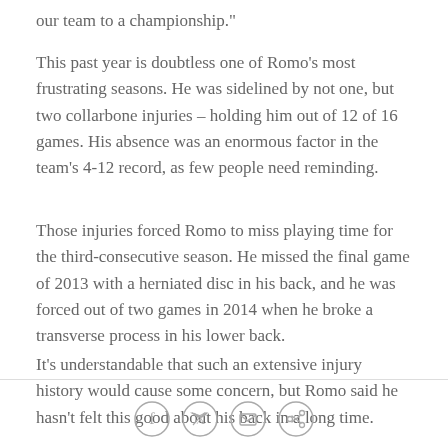our team to a championship."
This past year is doubtless one of Romo's most frustrating seasons. He was sidelined by not one, but two collarbone injuries – holding him out of 12 of 16 games. His absence was an enormous factor in the team's 4-12 record, as few people need reminding.
Those injuries forced Romo to miss playing time for the third-consecutive season. He missed the final game of 2013 with a herniated disc in his back, and he was forced out of two games in 2014 when he broke a transverse process in his lower back.
It's understandable that such an extensive injury history would cause some concern, but Romo said he hasn't felt this good about his back in a long time.
[Figure (other): Social media sharing icons: Facebook, Twitter, Email, Link]